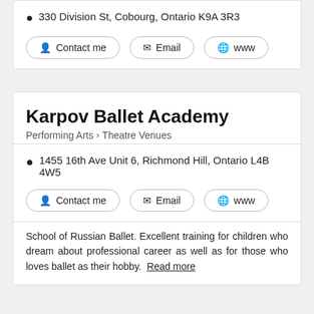330 Division St, Cobourg, Ontario K9A 3R3
Contact me
Email
www
Karpov Ballet Academy
Performing Arts > Theatre Venues
1455 16th Ave Unit 6, Richmond Hill, Ontario L4B 4W5
Contact me
Email
www
School of Russian Ballet. Excellent training for children who dream about professional career as well as for those who loves ballet as their hobby. Read more